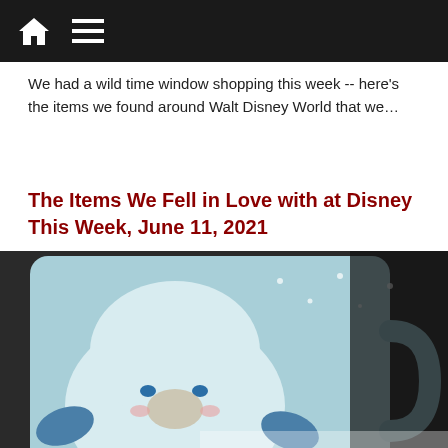Navigation bar with home and menu icons
We had a wild time window shopping this week -- here's the items we found around Walt Disney World that we…
The Items We Fell in Love with at Disney This Week, June 11, 2021
[Figure (photo): Close-up photo of a light blue ceramic mug featuring a cute Yeti character with snowflake designs]